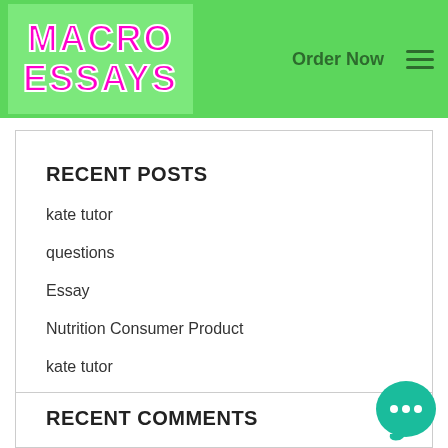MACRO ESSAYS | Order Now
RECENT POSTS
kate tutor
questions
Essay
Nutrition Consumer Product
kate tutor
RECENT COMMENTS